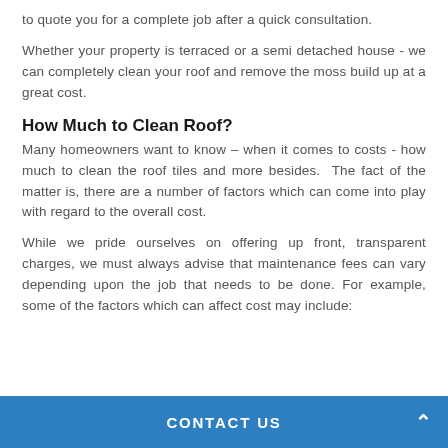to quote you for a complete job after a quick consultation.
Whether your property is terraced or a semi detached house - we can completely clean your roof and remove the moss build up at a great cost.
How Much to Clean Roof?
Many homeowners want to know – when it comes to costs - how much to clean the roof tiles and more besides. The fact of the matter is, there are a number of factors which can come into play with regard to the overall cost.
While we pride ourselves on offering up front, transparent charges, we must always advise that maintenance fees can vary depending upon the job that needs to be done. For example, some of the factors which can affect cost may include:
CONTACT US